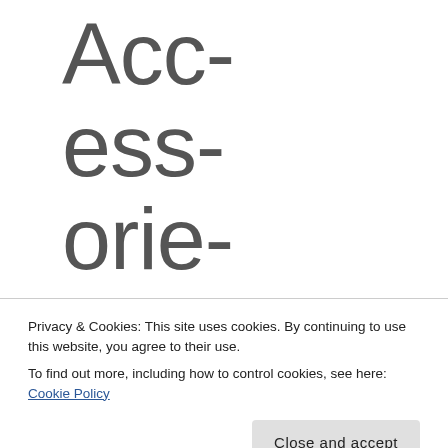Accessories:
Die-Cutting Machine
Privacy & Cookies: This site uses cookies. By continuing to use this website, you agree to their use.
To find out more, including how to control cookies, see here: Cookie Policy
Close and accept